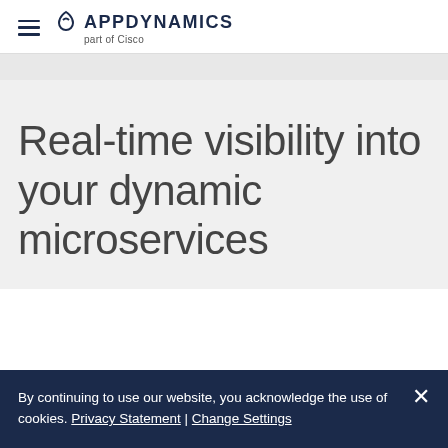AppDynamics – part of Cisco
Real-time visibility into your dynamic microservices
By continuing to use our website, you acknowledge the use of cookies. Privacy Statement | Change Settings